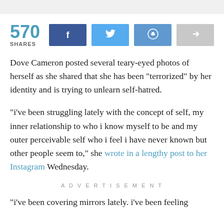[Figure (infographic): Share count with social media buttons: 570 SHARES, Facebook, Twitter, Reddit, and a share arrow button]
Dove Cameron posted several teary-eyed photos of herself as she shared that she has been "terrorized" by her identity and is trying to unlearn self-hatred.
"i've been struggling lately with the concept of self, my inner relationship to who i know myself to be and my outer perceivable self who i feel i have never known but other people seem to," she wrote in a lengthy post to her Instagram Wednesday.
ADVERTISEMENT
"i've been covering mirrors lately. i've been feeling